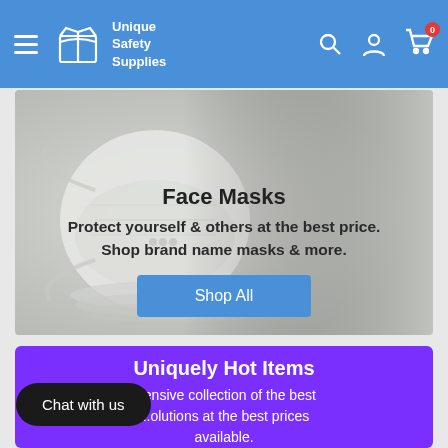Unique Safety Supplies — navigation bar with hamburger menu, logo, search, account, and cart icons
[Figure (screenshot): Hero banner showing a white KN95/N95 face mask on a light grey background with text overlay: 'Face Masks', 'Protect yourself & others at the best price. Shop brand name masks & more.' and a 'Shop All' blue button]
Face Masks
Protect yourself & others at the best price. Shop brand name masks & more.
Shop All
Uniquely Hot Items
...ensive collection of the best ...olutions at the best prices available.
Chat with us